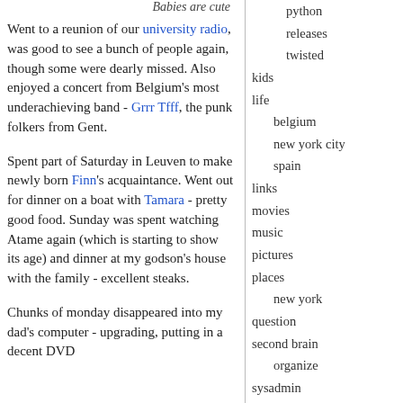Babies are cute
Went to a reunion of our university radio, was good to see a bunch of people again, though some were dearly missed. Also enjoyed a concert from Belgium's most underachieving band - Grrr Tfff, the punk folkers from Gent.
Spent part of Saturday in Leuven to make newly born Finn's acquaintance. Went out for dinner on a boat with Tamara - pretty good food. Sunday was spent watching Atame again (which is starting to show its age) and dinner at my godson's house with the family - excellent steaks.
Chunks of monday disappeared into my dad's computer - upgrading, putting in a decent DVD
python
releases
twisted
kids
life
belgium
new york city
spain
links
movies
music
pictures
places
new york
question
second brain
organize
sysadmin
the playlist
travel
conference
tv
work
search:
archives:
april 2022
march 2022
february 2022